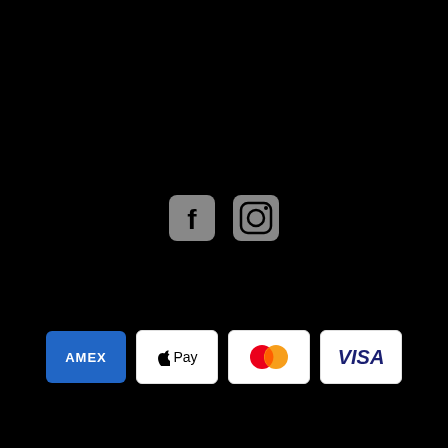[Figure (infographic): Facebook and Instagram social media icons on a black background — Facebook 'f' icon in a rounded square, Instagram camera icon in a rounded square, both in gray/white]
[Figure (infographic): Payment method logos: American Express (AMEX blue card), Apple Pay (white card with Apple logo), Mastercard (overlapping red and orange circles on white card), Visa (white card with blue VISA text) — all displayed as rounded rectangle cards on a black background]